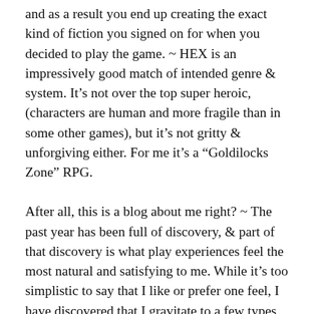and as a result you end up creating the exact kind of fiction you signed on for when you decided to play the game. ~ HEX is an impressively good match of intended genre & system. It's not over the top super heroic, (characters are human and more fragile than in some other games), but it's not gritty & unforgiving either. For me it's a “Goldilocks Zone” RPG.
After all, this is a blog about me right? ~ The past year has been full of discovery, & part of that discovery is what play experiences feel the most natural and satisfying to me. While it’s too simplistic to say that I like or prefer one feel, I have discovered that I gravitate to a few types more than others. I can see where on the various spectra I lie compared to my friends.